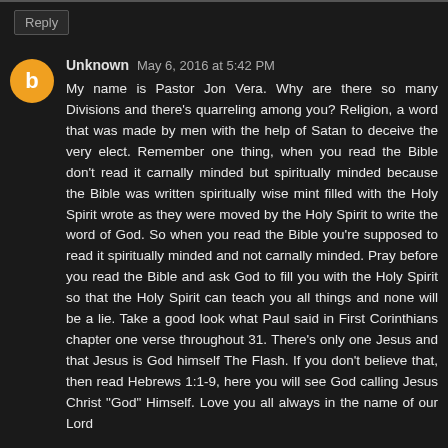Reply
Unknown May 6, 2016 at 5:42 PM
My name is Pastor Jon Vera. Why are there so many Divisions and there's quarreling among you? Religion, a word that was made by men with the help of Satan to deceive the very elect. Remember one thing, when you read the Bible don't read it carnally minded but spiritually minded because the Bible was written spiritually wise mint filled with the Holy Spirit wrote as they were moved by the Holy Spirit to write the word of God. So when you read the Bible you're supposed to read it spiritually minded and not carnally minded. Pray before you read the Bible and ask God to fill you with the Holy Spirit so that the Holy Spirit can teach you all things and none will be a lie. Take a good look what Paul said in First Corinthians chapter one verse throughout 31. There's only one Jesus and that Jesus is God himself The Flash. If you don't believe that, then read Hebrews 1:1-9, here you will see God calling Jesus Christ "God" Himself. Love you all always in the name of our Lord